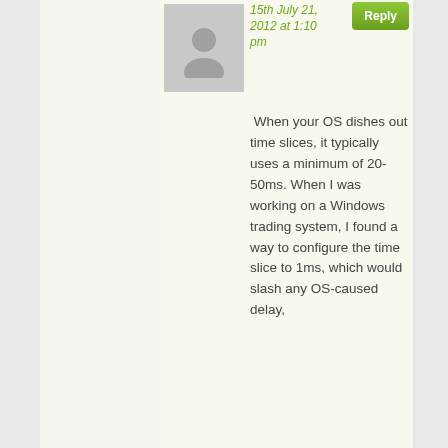[Figure (photo): Gray placeholder avatar image of a person silhouette]
15th July 21, 2012 at 1:10 pm
Reply
When your OS dishes out time slices, it typically uses a minimum of 20-50ms. When I was working on a Windows trading system, I found a way to configure the time slice to 1ms, which would slash any OS-caused delay,